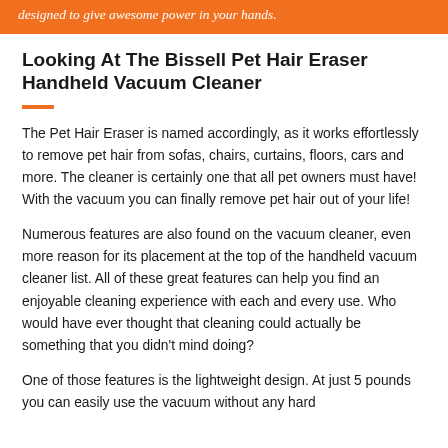designed to give awesome power in your hands.
Looking At The Bissell Pet Hair Eraser Handheld Vacuum Cleaner
The Pet Hair Eraser is named accordingly, as it works effortlessly to remove pet hair from sofas, chairs, curtains, floors, cars and more. The cleaner is certainly one that all pet owners must have! With the vacuum you can finally remove pet hair out of your life!
Numerous features are also found on the vacuum cleaner, even more reason for its placement at the top of the handheld vacuum cleaner list. All of these great features can help you find an enjoyable cleaning experience with each and every use. Who would have ever thought that cleaning could actually be something that you didn't mind doing?
One of those features is the lightweight design. At just 5 pounds you can easily use the vacuum without any hard